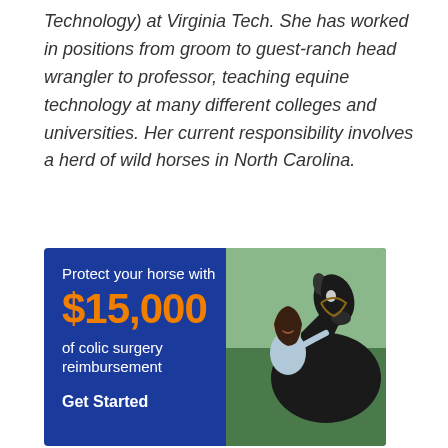Technology) at Virginia Tech. She has worked in positions from groom to guest-ranch head wrangler to professor, teaching equine technology at many different colleges and universities. Her current responsibility involves a herd of wild horses in North Carolina.
[Figure (infographic): Blue advertisement banner for horse insurance: 'Protect your horse with $15,000 of colic surgery reimbursement. Get Started.' Features photo of woman with dark horse on right side.]